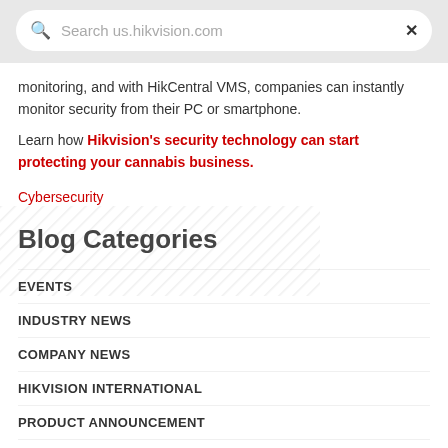[Figure (screenshot): Search bar with magnifying glass icon, placeholder text 'Search us.hikvision.com', and an X close button on a light gray background]
monitoring, and with HikCentral VMS, companies can instantly monitor security from their PC or smartphone.
Learn how Hikvision's security technology can start protecting your cannabis business.
Cybersecurity
Blog Categories
EVENTS
INDUSTRY NEWS
COMPANY NEWS
HIKVISION INTERNATIONAL
PRODUCT ANNOUNCEMENT
CYBERSECURITY